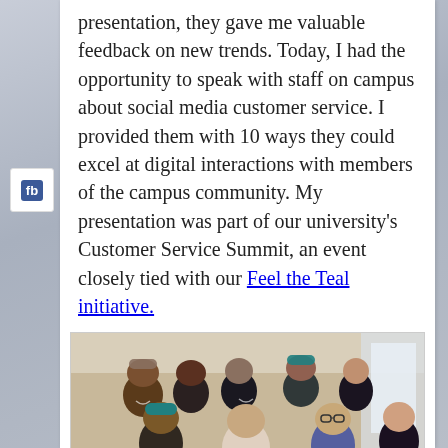presentation, they gave me valuable feedback on new trends. Today, I had the opportunity to speak with staff on campus about social media customer service. I provided them with 10 ways they could excel at digital interactions with members of the campus community. My presentation was part of our university's Customer Service Summit, an event closely tied with our Feel the Teal initiative.
[Figure (photo): Group photo of approximately 7 students and staff in a university hallway, some wearing teal caps, smiling at the camera.]